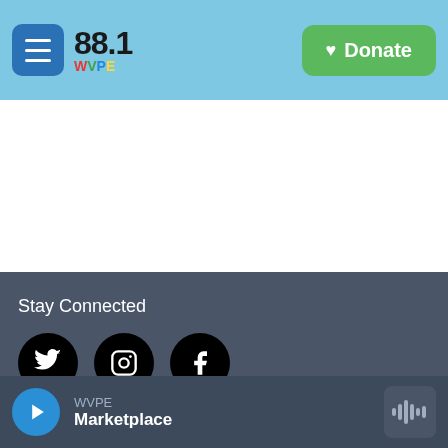88.1 WVPE — Donate
Stay Connected
[Figure (illustration): Twitter, Instagram, and Facebook social media icons (black circles with white logos)]
© 2022 WVPE
Licensee: Elkhart Schools
Public Inspection
WVPE Marketplace — audio player bar